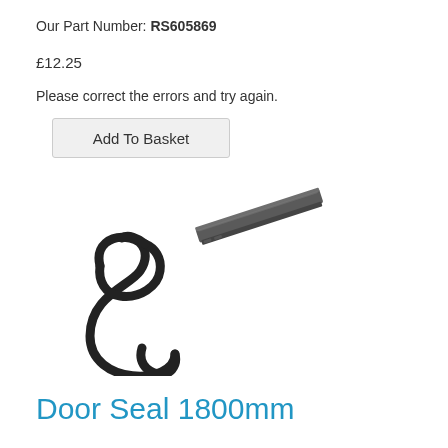Our Part Number: RS605869
£12.25
Please correct the errors and try again.
Add To Basket
[Figure (photo): Product photo showing a black rubber door seal strip coiled in an S-shape, and a grey extruded rubber/plastic door seal strip shown at an angle]
Door Seal 1800mm